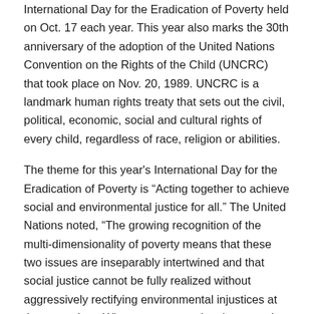International Day for the Eradication of Poverty held on Oct. 17 each year. This year also marks the 30th anniversary of the adoption of the United Nations Convention on the Rights of the Child (UNCRC) that took place on Nov. 20, 1989. UNCRC is a landmark human rights treaty that sets out the civil, political, economic, social and cultural rights of every child, regardless of race, religion or abilities.
The theme for this year's International Day for the Eradication of Poverty is “Acting together to achieve social and environmental justice for all.” The United Nations noted, “The growing recognition of the multi-dimensionality of poverty means that these two issues are inseparably intertwined and that social justice cannot be fully realized without aggressively rectifying environmental injustices at the same time. Whereas progress has been made in addressing income poverty, there has been less success in addressing the other important dimensions of poverty, including the rapidly growing impact of the environment, within a more holistic approach.”
On May 18, Pope Francis inaugurated “Laudato Si’ Week” at the Vatican commemorating the fifth anniversary of the publication of his eco-